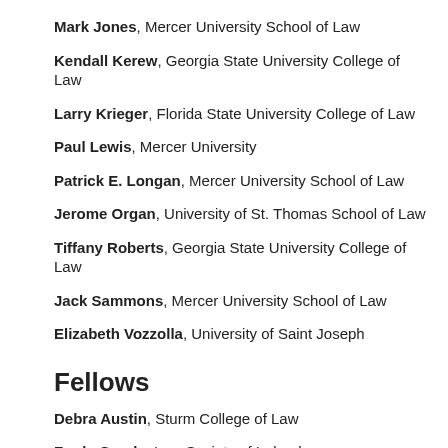Mark Jones, Mercer University School of Law
Kendall Kerew, Georgia State University College of Law
Larry Krieger, Florida State University College of Law
Paul Lewis, Mercer University
Patrick E. Longan, Mercer University School of Law
Jerome Organ, University of St. Thomas School of Law
Tiffany Roberts, Georgia State University College of Law
Jack Sammons, Mercer University School of Law
Elizabeth Vozzolla, University of Saint Joseph
Fellows
Debra Austin, Sturm College of Law
Freda Grealy, Law Society of Ireland